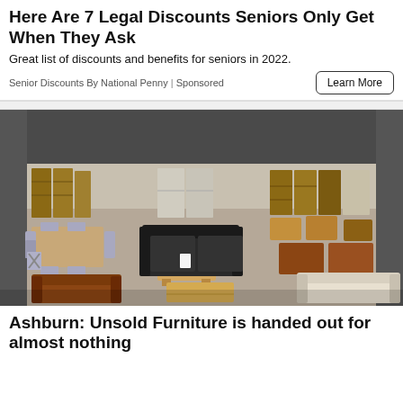Here Are 7 Legal Discounts Seniors Only Get When They Ask
Great list of discounts and benefits for seniors in 2022.
Senior Discounts By National Penny | Sponsored
[Figure (photo): Interior of a large furniture warehouse showroom filled with wooden furniture including tables, chairs, dressers, bookshelves, and sofas in various styles and colors including oak, dark wood, grey/white painted, leather sofas in brown and black, and a cream fabric sofa.]
Ashburn: Unsold Furniture is handed out for almost nothing